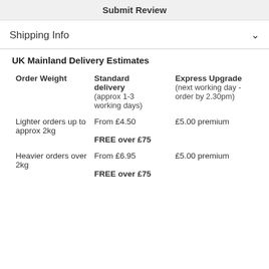Submit Review
Shipping Info
UK Mainland Delivery Estimates
| Order Weight | Standard delivery (approx 1-3 working days) | Express Upgrade (next working day - order by 2.30pm) |
| --- | --- | --- |
| Lighter orders up to approx 2kg | From £4.50
FREE over £75 | £5.00 premium |
| Heavier orders over 2kg | From £6.95
FREE over £75 | £5.00 premium |